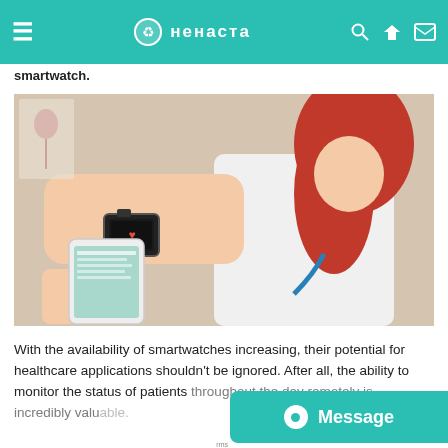нeнacта (Henacta) — header navigation bar with hamburger menu, logo, search, share, and mail icons
innovations in the healthcare industry. According to Deloitte's survey, 1 percent of users have a smartwatch.
[Figure (photo): A healthcare professional (woman with red hair in white coat) holding a smartphone and examining a smartwatch on a patient's wrist in a clinical setting.]
With the availability of smartwatches increasing, their potential for healthcare applications shouldn't be ignored. After all, the ability to monitor the status of patients throughout the day remotely is incredibly valuable.